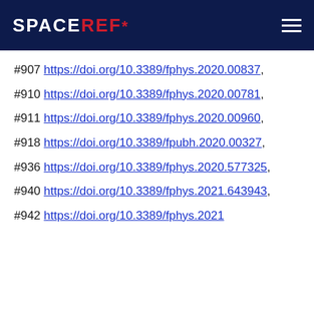SPACEREF*
#907 https://doi.org/10.3389/fphys.2020.00837,
#910 https://doi.org/10.3389/fphys.2020.00781,
#911 https://doi.org/10.3389/fphys.2020.00960,
#918 https://doi.org/10.3389/fpubh.2020.00327,
#936 https://doi.org/10.3389/fphys.2020.577325,
#940 https://doi.org/10.3389/fphys.2021.643943,
#942 https://doi.org/10.3389/fphys.2021